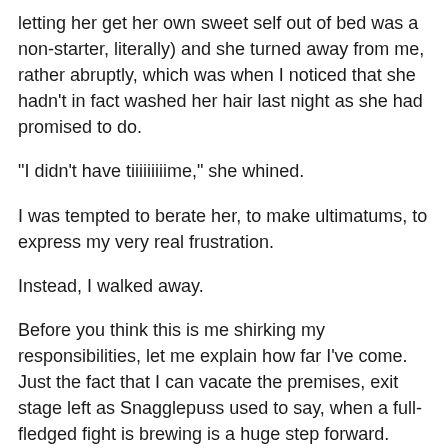letting her get her own sweet self out of bed was a non-starter, literally) and she turned away from me, rather abruptly, which was when I noticed that she hadn't in fact washed her hair last night as she had promised to do.
"I didn't have tiiiiiiiiime," she whined.
I was tempted to berate her, to make ultimatums, to express my very real frustration.
Instead, I walked away.
Before you think this is me shirking my responsibilities, let me explain how far I've come. Just the fact that I can vacate the premises, exit stage left as Snagglepuss used to say, when a full-fledged fight is brewing is a huge step forward. Huge, huge, huge. (Did I mention that it's huge?)